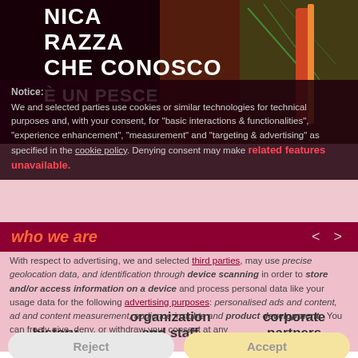[Figure (photo): Background photo of a person wearing a black t-shirt with Italian text 'L'UNICA RAZZA CHE CONOSCO È UN PESCE' and decorative items on the right side]
Notice: We and selected parties use cookies or similar technologies for technical purposes and, with your consent, for "basic interactions & functionalities", "experience enhancement", "measurement" and "targeting & advertising" as specified in the cookie policy. Denying consent may make related features unavailable.
who we are
With respect to advertising, we and selected third parties, may use precise geolocation data, and identification through device scanning in order to store and/or access information on a device and process personal data like your usage data for the following advertising purposes: personalised ads and content, ad and content measurement, audience insights and product development. You can freely give, deny, or withdraw your consent at any
history
organization and staff
corporate partners
Reject
Accept
Dedalus' staff comprises economists, sociologists, psychologists, social operators, vocational trainers,